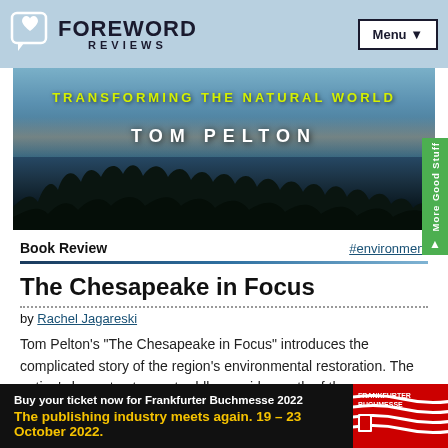FOREWORD REVIEWS
[Figure (photo): Book cover banner showing 'Transforming the Natural World' by Tom Pelton with tree silhouettes against a twilight sky]
Book Review   #environment
The Chesapeake in Focus
by Rachel Jagareski
Tom Pelton's "The Chesapeake in Focus" introduces the complicated story of the region's environmental restoration. The nation's largest estuary straddles a wide swath of the
[Figure (photo): Frankfurter Buchmesse 2022 advertisement banner: 'Buy your ticket now for Frankfurter Buchmesse 2022. The publishing industry meets again. 19 – 23 October 2022.']